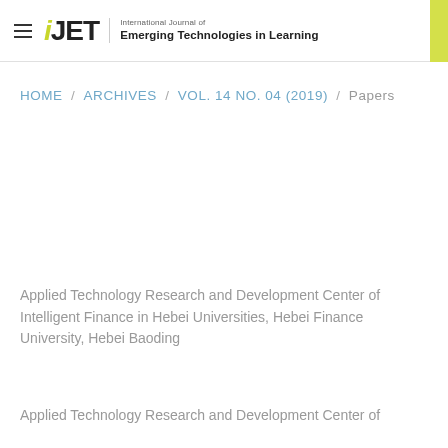iJET — International Journal of Emerging Technologies in Learning
HOME / ARCHIVES / VOL. 14 NO. 04 (2019) / Papers
Applied Technology Research and Development Center of Intelligent Finance in Hebei Universities, Hebei Finance University, Hebei Baoding
Applied Technology Research and Development Center of